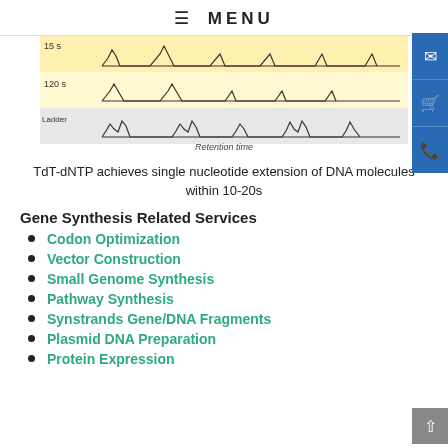≡  MENU
[Figure (continuous-plot): Chromatogram traces showing DNA retention time peaks at 15s and 120s conditions and Ladder, with peaks visible at multiple positions along the x-axis labeled Retention time. Background is yellow/cream for the 15s and 120s rows and white/gray for the Ladder row.]
TdT-dNTP achieves single nucleotide extension of DNA molecules within 10-20s
Gene Synthesis Related Services
Codon Optimization
Vector Construction
Small Genome Synthesis
Pathway Synthesis
Synstrands Gene/DNA Fragments
Plasmid DNA Preparation
Protein Expression